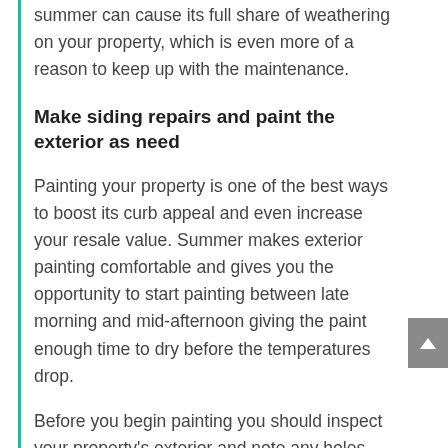summer can cause its full share of weathering on your property, which is even more of a reason to keep up with the maintenance.
Make siding repairs and paint the exterior as need
Painting your property is one of the best ways to boost its curb appeal and even increase your resale value. Summer makes exterior painting comfortable and gives you the opportunity to start painting between late morning and mid-afternoon giving the paint enough time to dry before the temperatures drop.
Before you begin painting you should inspect your property's exterior and note any holes, cracks and other damage to the siding that will need to be repaired. Even though paint can fill in minor holes and cracks, it doesn't mean that it should. Instead, take the time to properly fill